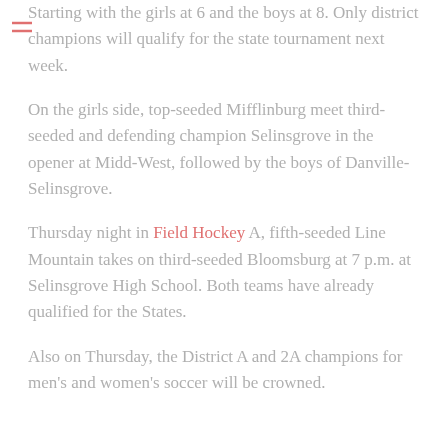Starting with the girls at 6 and the boys at 8. Only district champions will qualify for the state tournament next week.
On the girls side, top-seeded Mifflinburg meet third-seeded and defending champion Selinsgrove in the opener at Midd-West, followed by the boys of Danville-Selinsgrove.
Thursday night in Field Hockey A, fifth-seeded Line Mountain takes on third-seeded Bloomsburg at 7 p.m. at Selinsgrove High School. Both teams have already qualified for the States.
Also on Thursday, the District A and 2A champions for men's and women's soccer will be crowned.